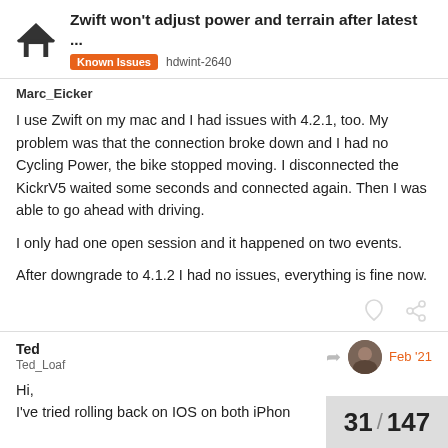Zwift won't adjust power and terrain after latest ... | Known Issues hdwint-2640
Marc_Eicker
I use Zwift on my mac and I had issues with 4.2.1, too. My problem was that the connection broke down and I had no Cycling Power, the bike stopped moving. I disconnected the KickrV5 waited some seconds and connected again. Then I was able to go ahead with driving.

I only had one open session and it happened on two events.

After downgrade to 4.1.2 I had no issues, everything is fine now.
Ted
Ted_Loaf
Feb '21
Hi,
I've tried rolling back on IOS on both iPhon
31 / 147